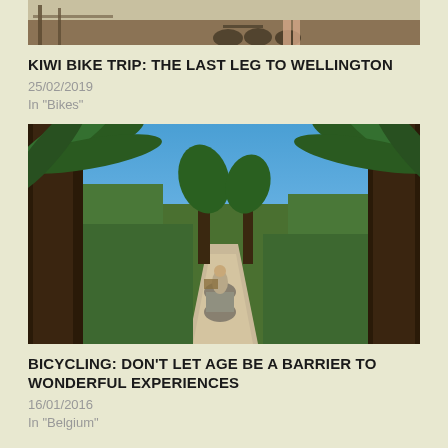[Figure (photo): Top portion of a photo showing bicycles parked near a fence or structure, partially cropped]
KIWI BIKE TRIP: THE LAST LEG TO WELLINGTON
25/02/2019
In "Bikes"
[Figure (photo): A cyclist on a gravel path surrounded by tall tree ferns and lush green vegetation under a bright blue sky in New Zealand]
BICYCLING: DON'T LET AGE BE A BARRIER TO WONDERFUL EXPERIENCES
16/01/2016
In "Belgium"